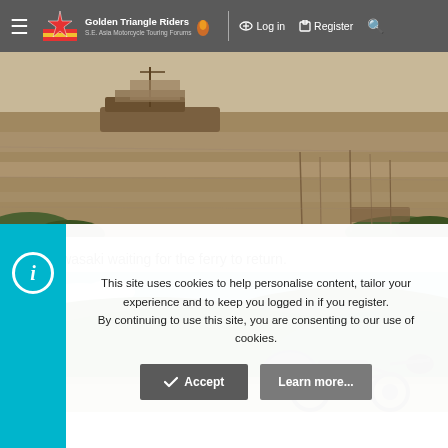Golden Triangle Riders — S.E. Asia Motorcycle Touring Forums | Log in | Register
[Figure (photo): A river scene with a flat wooden boat/barge visible on muddy brown water. Vegetation visible along the banks.]
The Kawasaki waiting for the ferry to return.
[Figure (photo): A motorcycle with a helmet resting on it, parked by a riverbank with green forested hills in the background under a partly cloudy sky.]
This site uses cookies to help personalise content, tailor your experience and to keep you logged in if you register. By continuing to use this site, you are consenting to our use of cookies.